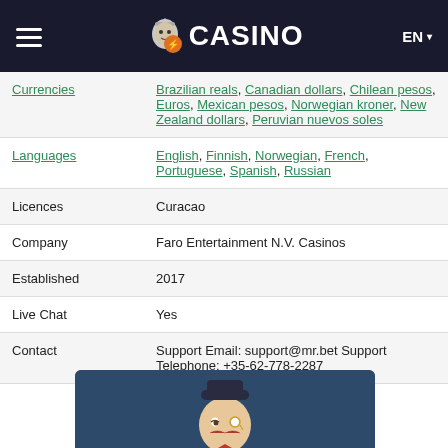MR.BET CASINO — EN
| Field | Value |
| --- | --- |
| Currencies | Brazilian reals, Canadian dollars, Chilean pesos, Euros, Mexican pesos, Norwegian kroner, New Zealand dollars, Peruvian nuevos soles |
| Languages | English, Finnish, Norwegian, French, Portuguese, Spanish, Russian |
| Licences | Curacao |
| Company | Faro Entertainment N.V. Casinos |
| Established | 2017 |
| Live Chat | Yes |
| Contact | Support Email: support@mr.bet Support Telephone: +35-62-778-2287 |
[Figure (illustration): Cartoon mascot character — a mustachioed gentleman with a monocle and bowler hat on a dark teal background]